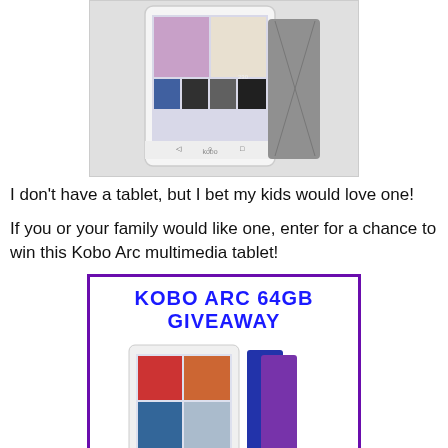[Figure (photo): Photo of a white Kobo tablet/e-reader showing book covers and app icons on screen, with a gray cover/case behind it]
I don't have a tablet, but I bet my kids would love one!
If you or your family would like one, enter for a chance to win this Kobo Arc multimedia tablet!
[Figure (photo): Promotional giveaway graphic with purple border, title 'KOBO ARC 64GB GIVEAWAY' in blue bold text, and a Kobo Arc tablet with colored covers shown below]